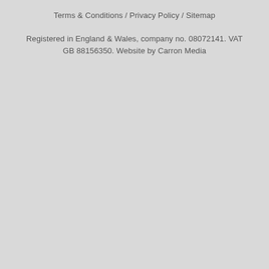Terms & Conditions / Privacy Policy / Sitemap
Registered in England & Wales, company no. 08072141. VAT GB 88156350. Website by Carron Media